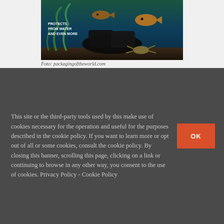[Figure (photo): Product packaging photo showing shoes/boots in an underwater scene with fish, crabs and aquatic plants. Text overlay reads 'PROTECTS FROM WATER AND EVEN MORE'.]
Foto: packagingoftheworld.com
This site or the third-party tools used by this make use of cookies necessary for the operation and useful for the purposes described in the cookie policy. If you want to learn more or opt out of all or some cookies, consult the cookie policy. By closing this banner, scrolling this page, clicking on a link or continuing to browse in any other way, you consent to the use of cookies. Privacy Policy - Cookie Policy